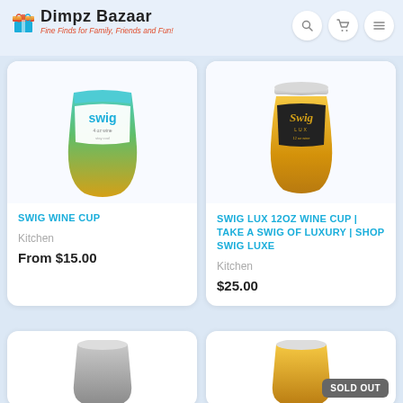[Figure (logo): Dimpz Bazaar logo with gift box icon and tagline 'Fine Finds for Family, Friends and Fun!']
[Figure (photo): Swig wine cup - stemless tumbler with teal/green gradient and yellow bottom, white label]
SWIG WINE CUP
Kitchen
From $15.00
[Figure (photo): Swig Lux 12oz wine cup - gold metallic stemless tumbler with black label and gold script Swig Luxe text, clear lid]
SWIG LUX 12OZ WINE CUP | TAKE A SWIG OF LUXURY | SHOP SWIG LUXE
Kitchen
$25.00
[Figure (photo): Partial product card - bottom of page, left, appears to be a metallic cup]
[Figure (photo): Partial product card - bottom of page, right, with SOLD OUT badge]